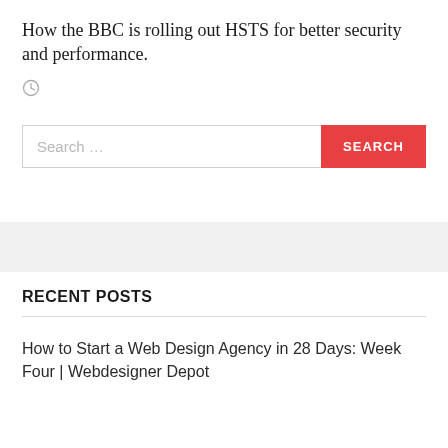How the BBC is rolling out HSTS for better security and performance.
[Figure (other): Clock/time icon]
Search …
RECENT POSTS
How to Start a Web Design Agency in 28 Days: Week Four | Webdesigner Depot